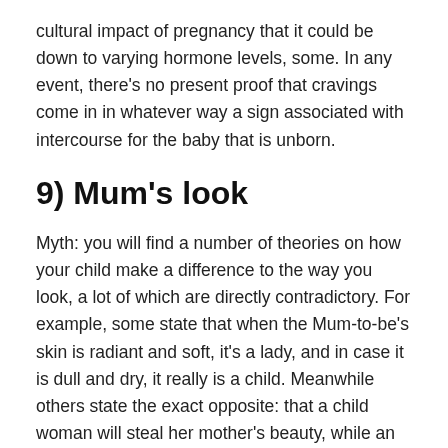cultural impact of pregnancy that it could be down to varying hormone levels, some. In any event, there's no present proof that cravings come in in whatever way a sign associated with intercourse for the baby that is unborn.
9) Mum's look
Myth: you will find a number of theories on how your child make a difference to the way you look, a lot of which are directly contradictory. For example, some state that when the Mum-to-be's skin is radiant and soft, it's a lady, and in case it is dull and dry, it really is a child. Meanwhile others state the exact opposite: that a child woman will steal her mother's beauty, while an infant child will boost it.
Reality: maternity always leads to epidermis modifications as a result of varying hormones amounts, however these impact every individual differently. They could cause your oil glands to